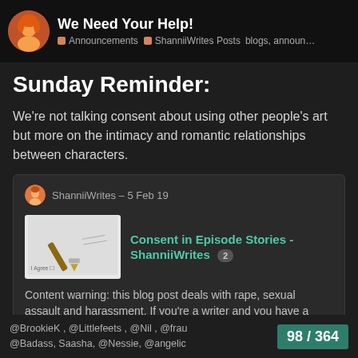We Need Your Help! — Announcements · ShanniiWrites Posts blogs, announ…
Sunday Reminder:
We're not talking consent about using other people's art but more on the intimacy and romantic relationships between characters.
ShanniiWrites – 5 Feb 19
Consent in Episode Stories - ShanniiWrites 2
Content warning: this blog post deals with rape, sexual assault and harassment. If you're a writer and you have a romance scene, is it consensual?
@BrookieK , @Littlefeets , @Nil , @frau @Badass, Saasha, @Nessie, @angelic … 98 / 364